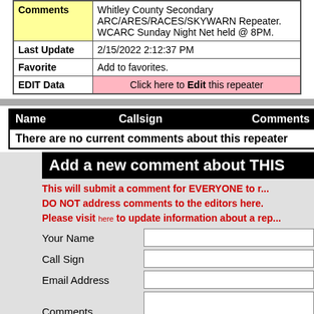| Comments | Whitley County Secondary ARC/ARES/RACES/SKYWARN Repeater. WCARC Sunday Night Net held @ 8PM. |
| Last Update | 2/15/2022 2:12:37 PM |
| Favorite | Add to favorites. |
| EDIT Data | Click here to Edit this repeater |
| Name | Callsign | Comments |
| --- | --- | --- |
| There are no current comments about this repeater |  |  |
Add a new comment about THIS
This will submit a comment for EVERYONE to r... DO NOT address comments to the editors here. Please visit here to update information about a rep...
Your Name
Call Sign
Email Address
Comments